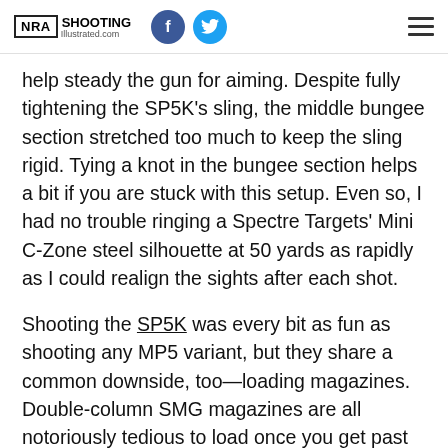NRA Shooting Illustrated .com
help steady the gun for aiming. Despite fully tightening the SP5K's sling, the middle bungee section stretched too much to keep the sling rigid. Tying a knot in the bungee section helps a bit if you are stuck with this setup. Even so, I had no trouble ringing a Spectre Targets' Mini C-Zone steel silhouette at 50 yards as rapidly as I could realign the sights after each shot.
Shooting the SP5K was every bit as fun as shooting any MP5 variant, but they share a common downside, too—loading magazines. Double-column SMG magazines are all notoriously tedious to load once you get past the halfway point, and the SP5K's are no exception. The upside is that they are uber